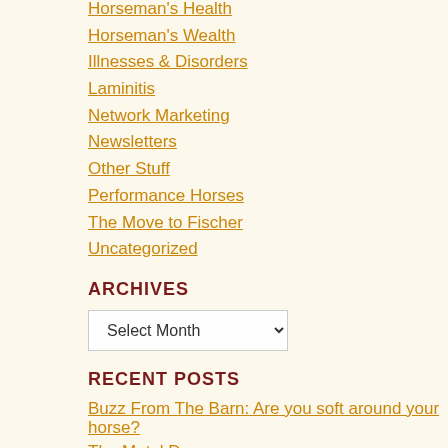Horseman's Health
Horseman's Wealth
Illnesses & Disorders
Laminitis
Network Marketing
Newsletters
Other Stuff
Performance Horses
The Move to Fischer
Uncategorized
ARCHIVES
RECENT POSTS
Buzz From The Barn: Are you soft around your horse?
The Metal Dog
Horseman's Health: Your Repair and Rejuvenation System